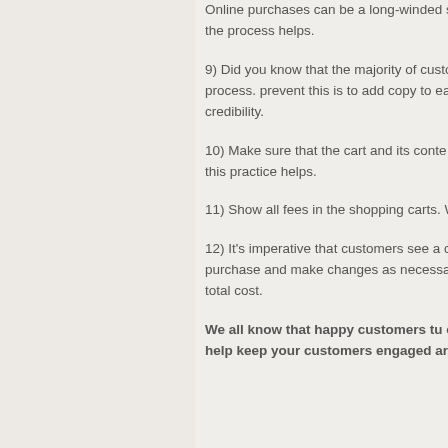Online purchases can be a long-winded smaller steps that allow the customer to the process helps.
9) Did you know that the majority of customers purchases do so during the order process. prevent this is to add copy to each order potential questions and builds credibility.
10) Make sure that the cart and its contents times. Customers like to feel in control of this practice helps.
11) Show all fees in the shopping carts. W so be as transparent as possible at all times.
12) It’s imperative that customers see a complete order before confirming their order. This allows purchase and make changes as necessary. page allows people to easily make edits total cost.
We all know that happy customers turn into loyal customers. Creating a use friendly e-Commerce store will help keep your customers engaged and satisfied.